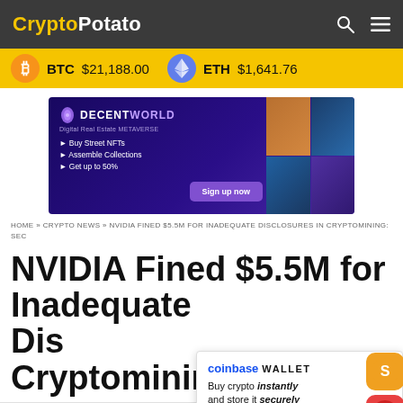CryptoPotato
BTC $21,188.00   ETH $1,641.76
[Figure (screenshot): DecentWorld Digital Real Estate METAVERSE advertisement banner. Shows 'Buy Street NFTs', 'Assemble Collections', 'Get up to 50%' with a 'Sign up now' button and grid of real estate images.]
HOME » CRYPTO NEWS » NVIDIA FINED $5.5M FOR INADEQUATE DISCLOSURES IN CRYPTOMINING: SEC
NVIDIA Fined $5.5M for Inadequate Disclosures in Cryptomining:
[Figure (screenshot): Coinbase Wallet advertisement popup. Text reads: 'coinbase WALLET – Buy crypto instantly and store it securely – Download Today →']